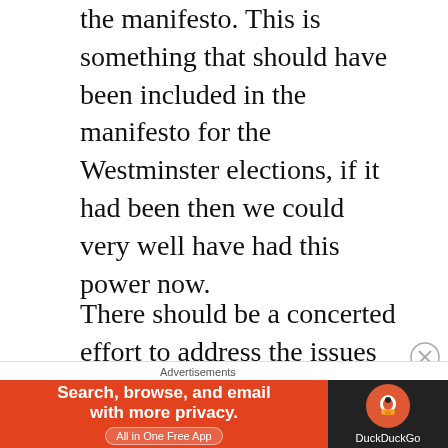the manifesto. This is something that should have been included in the manifesto for the Westminster elections, if it had been then we could very well have had this power now.
There should be a concerted effort to address the issues that lost us the last referendum, such as pensions and the currency , plan B issue. To do these things the grass roots organisations must once again be activated and campaigned on a lower level with materials
[Figure (other): DuckDuckGo advertisement banner: orange left panel reading 'Search, browse, and email with more privacy. All in One Free App' with DuckDuckGo logo on dark right panel. Preceded by 'Advertisements' label.]